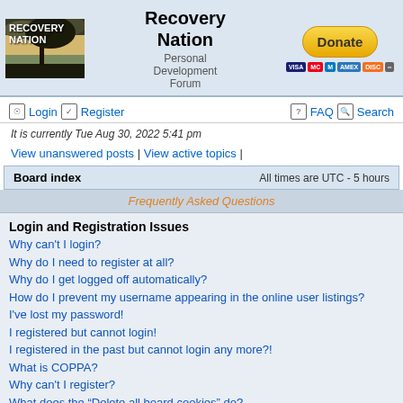[Figure (screenshot): Recovery Nation forum website header with logo, site title, and donate button]
Recovery Nation
Personal Development Forum
Login  Register  FAQ  Search
It is currently Tue Aug 30, 2022 5:41 pm
View unanswered posts | View active topics |
Board index  All times are UTC - 5 hours
Frequently Asked Questions
Login and Registration Issues
Why can't I login?
Why do I need to register at all?
Why do I get logged off automatically?
How do I prevent my username appearing in the online user listings?
I've lost my password!
I registered but cannot login!
I registered in the past but cannot login any more?!
What is COPPA?
Why can't I register?
What does the "Delete all board cookies" do?
User Preferences and settings